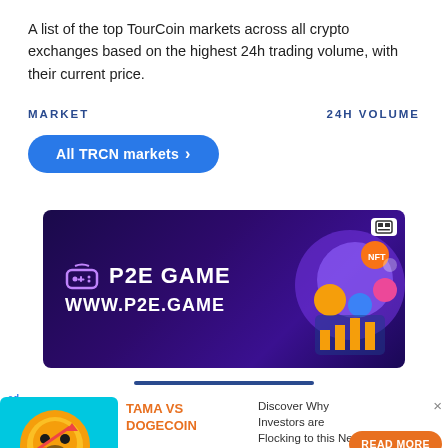A list of the top TourCoin markets across all crypto exchanges based on the highest 24h trading volume, with their current price.
MARKET                                                    24H VOLUME
All TRCN markets >
[Figure (photo): P2E GAME advertisement banner with purple gradient background, gaming controller graphic, NFT coins, and text: P2E GAME / WWW.P2E.GAME]
[Figure (photo): Second advertisement: TAMA VS DOGECOIN with Shiba Inu dog coin image and bar chart graphic, with text: Discover Why Investors are Flocking to this New Crypto, and READ MORE button]